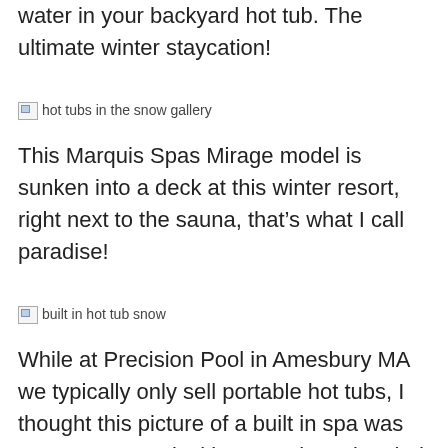water in your backyard hot tub. The ultimate winter staycation!
[Figure (photo): Broken image placeholder labeled 'hot tubs in the snow gallery']
This Marquis Spas Mirage model is sunken into a deck at this winter resort, right next to the sauna, that’s what I call paradise!
[Figure (photo): Broken image placeholder labeled 'built in hot tub snow']
While at Precision Pool in Amesbury MA we typically only sell portable hot tubs, I thought this picture of a built in spa was awesome, very inviting. Just keep in mind built in spas like this are usually a lot more